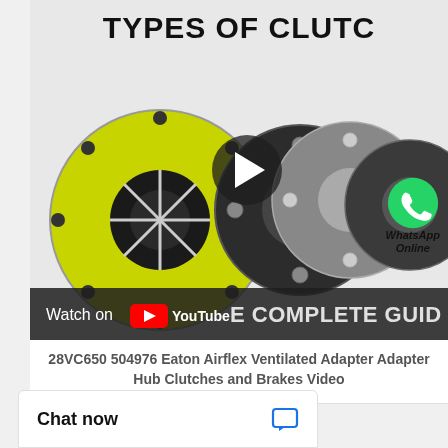[Figure (screenshot): YouTube video thumbnail showing exploded view of clutch components (yellow pressure plate, multiple friction discs, grey flywheel) with title 'TYPES OF CLUTCH' and subtitle 'THE COMPLETE GUIDE', with WhatsApp Online bubble overlay and YouTube watch bar at bottom]
28VC650 504976 Eaton Airflex Ventilated Adapter Adapter Hub Clutches and Brakes Video
Chat now